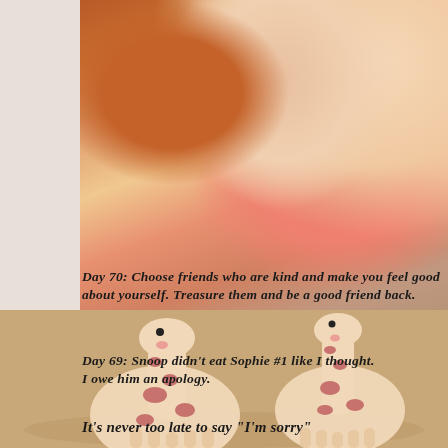[Figure (photo): Top photo: close-up of a sleeping baby with red/orange stuffed animal toy near its face, wearing pink clothing. Bottom photo: two Sophie the Giraffe rubber teething toys side by side on a beige/tan surface.]
Day 70: Choose friends who are kind and make you feel good about yourself. Treasure them and be a good friend back.
Day 69: Snoop didn't eat Sophie #1 like I thought. I owe him an apology.
It's never too late to say "I'm sorry"